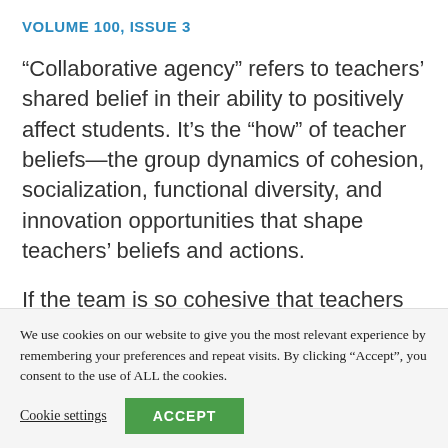VOLUME 100, ISSUE 3
“Collaborative agency” refers to teachers’ shared belief in their ability to positively affect students. It’s the “how” of teacher beliefs—the group dynamics of cohesion, socialization, functional diversity, and innovation opportunities that shape teachers’ beliefs and actions.
If the team is so cohesive that teachers have many overlapping interactions and feel attached to one
We use cookies on our website to give you the most relevant experience by remembering your preferences and repeat visits. By clicking “Accept”, you consent to the use of ALL the cookies.
Cookie settings   ACCEPT